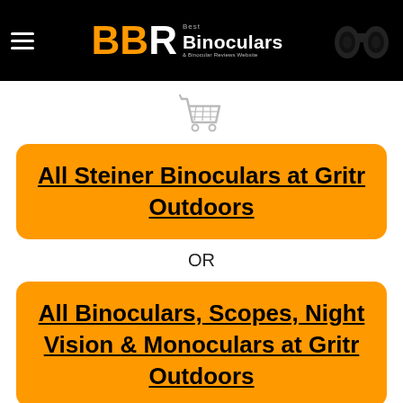BBR Best Binoculars & Binocular Reviews Website
[Figure (illustration): Shopping cart icon in light gray]
All Steiner Binoculars at Gritr Outdoors
OR
All Binoculars, Scopes, Night Vision & Monoculars at Gritr Outdoors